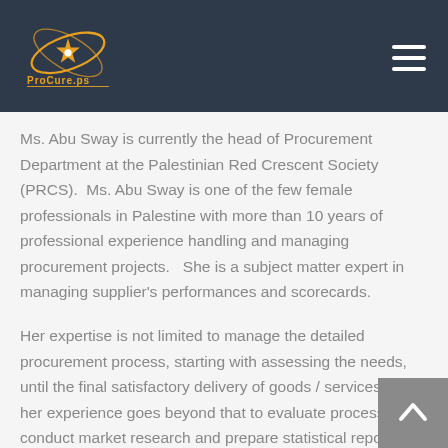ProCure.ps
Ms. Abu Sway is currently the head of Procurement Department at the Palestinian Red Crescent Society (PRCS).  Ms. Abu Sway is one of the few female professionals in Palestine with more than 10 years of professional experience handling and managing procurement projects.   She is a subject matter expert in managing supplier's performances and scorecards.
Her expertise is not limited to manage the detailed procurement process, starting with assessing the needs, until the final satisfactory delivery of goods / services, but, her experience goes beyond that to evaluate processes, conduct market research and prepare statistical reports.
Ms. Abu Sway is the Chairman at Social Accountability Committee acting and she is acting as a permanent member at the Procurement Committee, Research